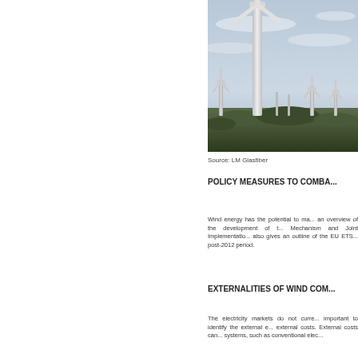[Figure (photo): Wind turbines in a wind farm against a cloudy sky, with a large turbine in the foreground and smaller turbines in the background on rocky terrain.]
Source: LM Glasfiber
POLICY MEASURES TO COMBA...
Wind energy has the potential to ma... an overview of the development of t... Mechanism and Joint Implementatio... also gives an outline of the EU ETS... post-2012 period.
EXTERNALITIES OF WIND COM...
The electricity markets do not curre... important to identify the external e... external costs. External costs can... systems, such as conventional elec...